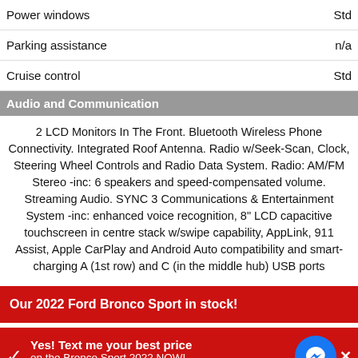| Power windows | Std |
| Parking assistance | n/a |
| Cruise control | Std |
Audio and Communication
2 LCD Monitors In The Front. Bluetooth Wireless Phone Connectivity. Integrated Roof Antenna. Radio w/Seek-Scan, Clock, Steering Wheel Controls and Radio Data System. Radio: AM/FM Stereo -inc: 6 speakers and speed-compensated volume. Streaming Audio. SYNC 3 Communications & Entertainment System -inc: enhanced voice recognition, 8" LCD capacitive touchscreen in centre stack w/swipe capability, AppLink, 911 Assist, Apple CarPlay and Android Auto compatibility and smart-charging A (1st row) and C (in the middle hub) USB ports
Our 2022 Ford Bronco Sport in stock!
Yes! Text me your best price on the Bronco Sport 2022 NOW! Click here.